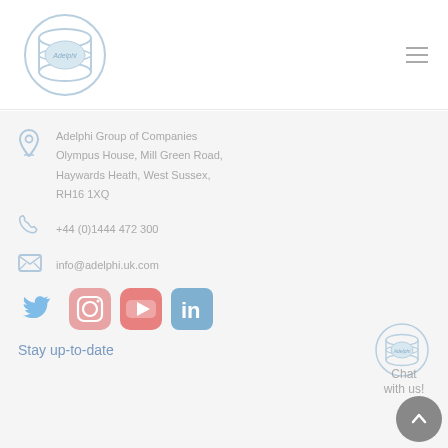[Figure (logo): Adelphi circular logo in light blue/grey tones]
Adelphi Group of Companies
Olympus House, Mill Green Road,
Haywards Heath, West Sussex,
RH16 1XQ
+44 (0)1444 472 300
info@adelphi.uk.com
[Figure (illustration): Social media icons: Twitter (blue bird), Instagram (gradient pink/orange), YouTube (red play button), LinkedIn (blue square)]
Stay up-to-date
[Figure (logo): Small Adelphi logo in chat widget]
Chat with us!